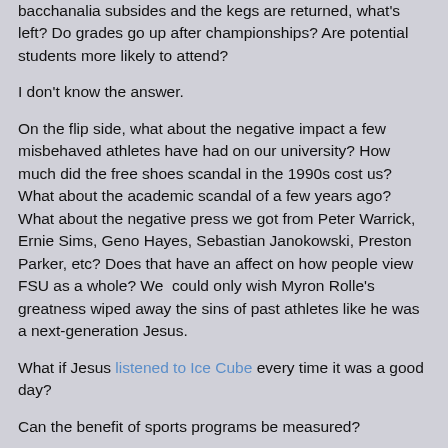bacchanalia subsides and the kegs are returned, what's left? Do grades go up after championships? Are potential students more likely to attend?
I don't know the answer.
On the flip side, what about the negative impact a few misbehaved athletes have had on our university? How much did the free shoes scandal in the 1990s cost us? What about the academic scandal of a few years ago? What about the negative press we got from Peter Warrick, Ernie Sims, Geno Hayes, Sebastian Janokowski, Preston Parker, etc? Does that have an affect on how people view FSU as a whole? We  could only wish Myron Rolle's greatness wiped away the sins of past athletes like he was a next-generation Jesus.
What if Jesus listened to Ice Cube every time it was a good day?
Can the benefit of sports programs be measured?
If so, then the impact of the Booster program can be